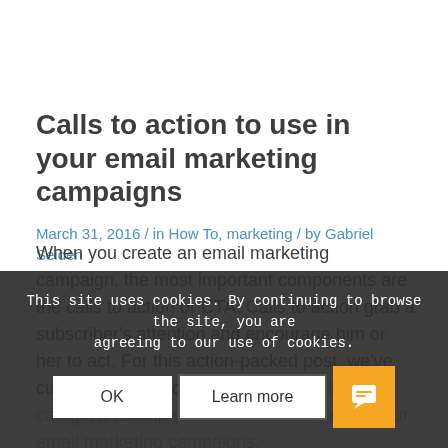Calls to action to use in your email marketing campaigns
March 31, 2016 / in How To, marketing / by Gabriel Seiden
When you create an email marketing campaign, the most important components are the calls to action or CTA. Calls to action grab a subscriber's attention and encourage him or her to act. For this action-packed post, we've curated calls to action, broken down by category, to help you use calls to action in your email marketing campaigns.
This site uses cookies. By continuing to browse the site, you are agreeing to our use of cookies.